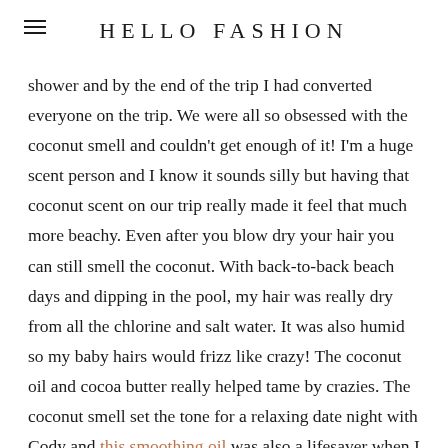HELLO FASHION
shower and by the end of the trip I had converted everyone on the trip. We were all so obsessed with the coconut smell and couldn't get enough of it! I'm a huge scent person and I know it sounds silly but having that coconut scent on our trip really made it feel that much more beachy. Even after you blow dry your hair you can still smell the coconut. With back-to-back beach days and dipping in the pool, my hair was really dry from all the chlorine and salt water. It was also humid so my baby hairs would frizz like crazy! The coconut oil and cocoa butter really helped tame by crazies. The coconut smell set the tone for a relaxing date night with Cody and this smoothing oil was also a lifesaver when I attempted to